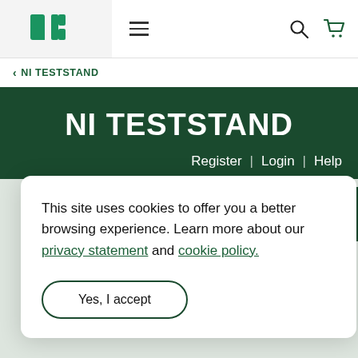[Figure (logo): NI logo mark — two green geometric letter shapes on a light grey background]
NI TESTSTAND
NI TESTSTAND
Register | Login | Help
This site uses cookies to offer you a better browsing experience. Learn more about our privacy statement and cookie policy.
Yes, I accept